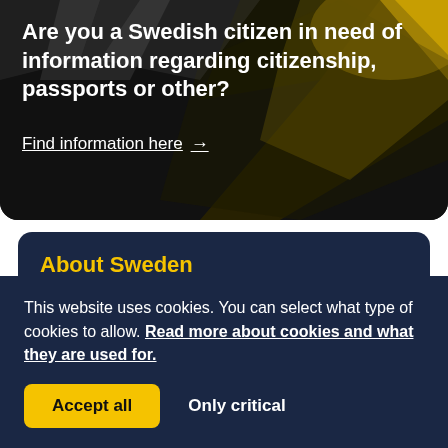[Figure (screenshot): Dark banner with abstract diagonal yellow and grey shapes in background, showing Swedish government website hero section]
Are you a Swedish citizen in need of information regarding citizenship, passports or other?
Find information here →
About Sweden
Working in Sweden, travel to Sweden, study in Sweden...
This website uses cookies. You can select what type of cookies to allow. Read more about cookies and what they are used for.